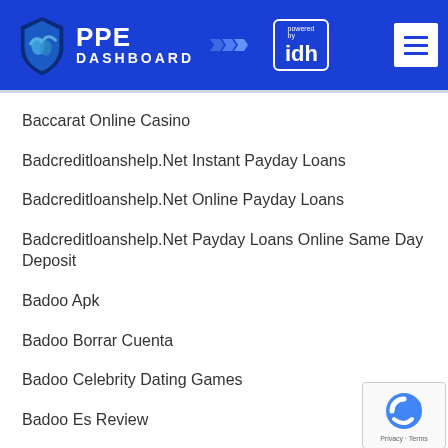[Figure (logo): PPE Dashboard logo with shield icon and 'powered by idh' badge on blue header background, with hamburger menu icon on the right]
Baccarat Online Casino
Badcreditloanshelp.Net Instant Payday Loans
Badcreditloanshelp.Net Online Payday Loans
Badcreditloanshelp.Net Payday Loans Online Same Day Deposit
Badoo Apk
Badoo Borrar Cuenta
Badoo Celebrity Dating Games
Badoo Es Review